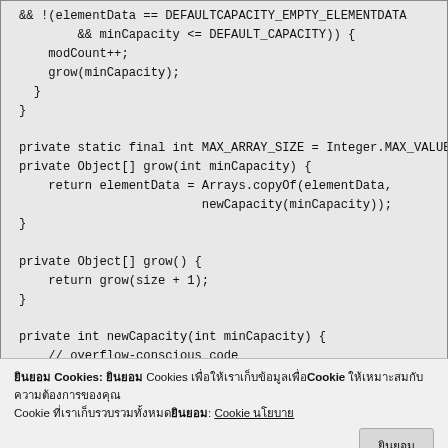[Figure (screenshot): Java source code snippet showing ArrayList grow methods and newCapacity method with overflow-conscious code comment]
ยินยอม Cookies: ยินยอม Cookies เพื่อให้เราเก็บข้อมูลเพื่อ Cookie ให้เหมาะสมกับความต้องการของคุณ Cookie ที่เราเก็บรวบรวมทั้งหมดยินยอม: Cookie นโยบาย